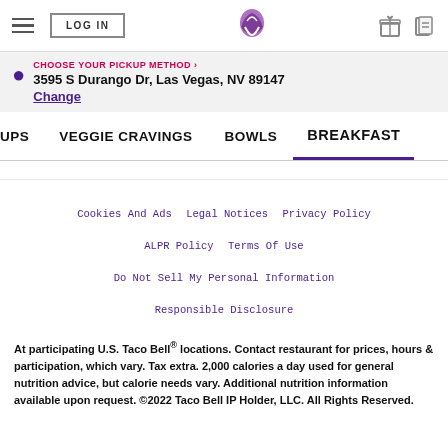LOG IN | Taco Bell | Gift | Card
CHOOSE YOUR PICKUP METHOD › 3595 S Durango Dr, Las Vegas, NV 89147 Change
OUPS   VEGGIE CRAVINGS   BOWLS   BREAKFAST
Cookies And Ads   Legal Notices   Privacy Policy   ALPR Policy   Terms Of Use   Do Not Sell My Personal Information   Responsible Disclosure
At participating U.S. Taco Bell® locations. Contact restaurant for prices, hours & participation, which vary. Tax extra. 2,000 calories a day used for general nutrition advice, but calorie needs vary. Additional nutrition information available upon request. ©2022 Taco Bell IP Holder, LLC. All Rights Reserved.